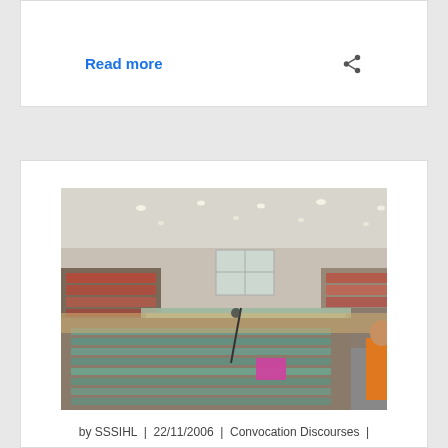Read more
[Figure (photo): Indoor convocation ceremony at a large hall. A figure in orange robes stands at the front right, facing rows of seated attendees filling the stadium. The hall has a white ceiling with lights, and large windows on the back wall.]
by SSSIHL | 22/11/2006 | Convocation Discourses |